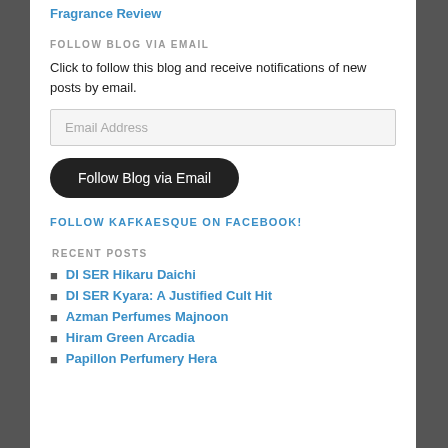Fragrance Review
FOLLOW BLOG VIA EMAIL
Click to follow this blog and receive notifications of new posts by email.
Email Address
Follow Blog via Email
FOLLOW KAFKAESQUE ON FACEBOOK!
RECENT POSTS
DI SER Hikaru Daichi
DI SER Kyara: A Justified Cult Hit
Azman Perfumes Majnoon
Hiram Green Arcadia
Papillon Perfumery Hera